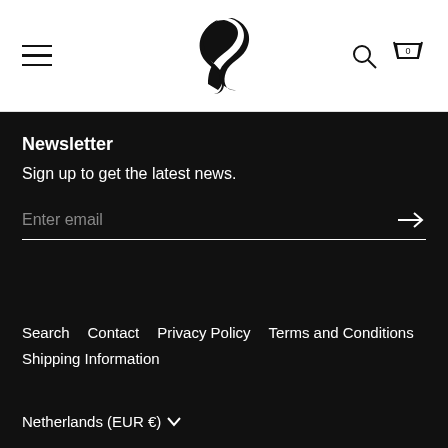Navigation header with hamburger menu, logo, search icon, and cart icon (0 items)
Newsletter
Sign up to get the latest news.
Enter email
Search
Contact
Privacy Policy
Terms and Conditions
Shipping Information
Netherlands (EUR €)